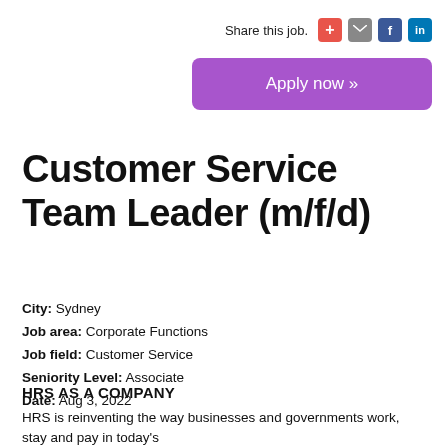Share this job.
Apply now »
Customer Service Team Leader (m/f/d)
City: Sydney
Job area: Corporate Functions
Job field: Customer Service
Seniority Level: Associate
Date: Aug 3, 2022
HRS AS A COMPANY
HRS is reinventing the way businesses and governments work, stay and pay in today's